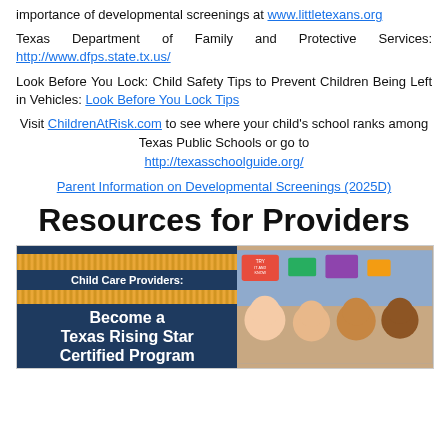importance of developmental screenings at www.littletexans.org
Texas Department of Family and Protective Services: http://www.dfps.state.tx.us/
Look Before You Lock: Child Safety Tips to Prevent Children Being Left in Vehicles: Look Before You Lock Tips
Visit ChildrenAtRisk.com to see where your child's school ranks among Texas Public Schools or go to http://texasschoolguide.org/
Parent Information on Developmental Screenings (2025D)
Resources for Providers
[Figure (illustration): Promotional image showing 'Child Care Providers: Become a Texas Rising Star Certified Program' on a navy blue background with orange decorative bars on the left, and a photo of smiling children on the right]